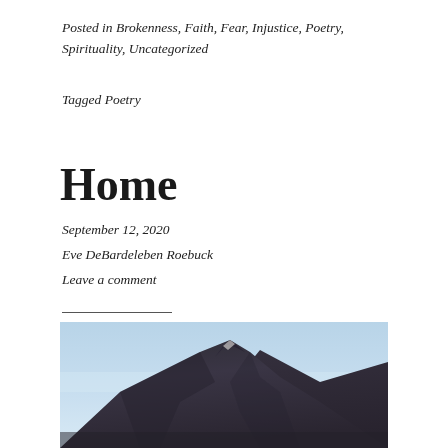Posted in Brokenness, Faith, Fear, Injustice, Poetry, Spirituality, Uncategorized
Tagged Poetry
Home
September 12, 2020
Eve DeBardeleben Roebuck
Leave a comment
[Figure (photo): A dark rocky mountain peak against a light blue hazy sky, photographed from below, filling the lower portion of the page.]